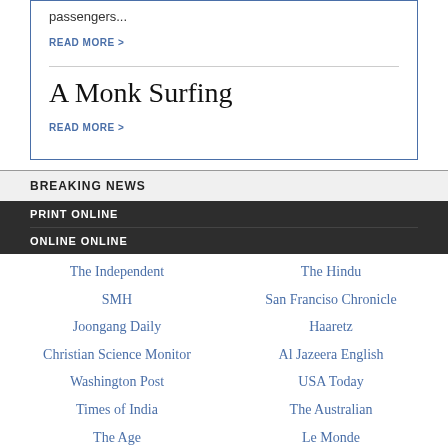passengers...
READ MORE >
A Monk Surfing
READ MORE >
BREAKING NEWS
PRINT ONLINE
ONLINE ONLINE
The Independent
The Hindu
SMH
San Franciso Chronicle
Joongang Daily
Haaretz
Christian Science Monitor
Al Jazeera English
Washington Post
USA Today
Times of India
The Australian
The Age
Le Monde